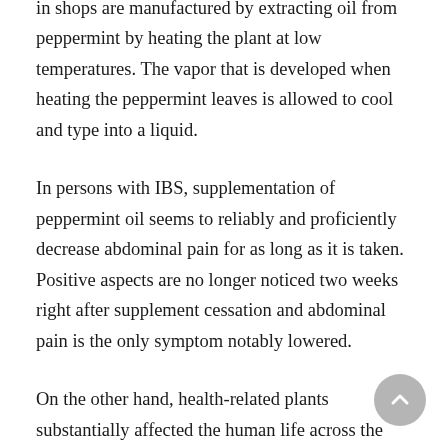antiviral activity . Accurate peppermint oil you get in shops are manufactured by extracting oil from peppermint by heating the plant at low temperatures. The vapor that is developed when heating the peppermint leaves is allowed to cool and type into a liquid.
In persons with IBS, supplementation of peppermint oil seems to reliably and proficiently decrease abdominal pain for as long as it is taken. Positive aspects are no longer noticed two weeks right after supplement cessation and abdominal pain is the only symptom notably lowered.
On the other hand, health-related plants substantially affected the human life across the whole globe . The use of herbal medicine is leading modality, followed in Middle East, Europe and certain other advance countries, in order to treat of catastrophic human ailments . Primarily based on